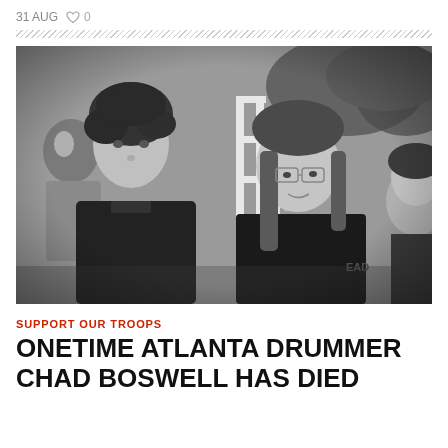31 AUG  ♥ 0
[Figure (photo): Black and white photograph of several young people outdoors. In the foreground on the left is a young person with curly hair wearing a black t-shirt. To the right is another person with long hair and glasses looking upward, also in a black t-shirt with partial text 'EAD' visible. Additional figures are partially visible in the background near a white staircase railing and trees.]
SUPPORT OUR TROOPS
ONETIME ATLANTA DRUMMER CHAD BOSWELL HAS DIED